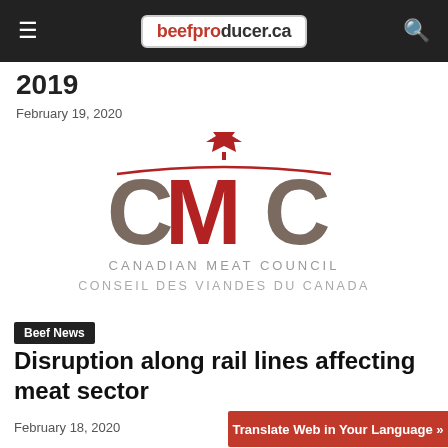beefproducer.ca
2019
February 19, 2020
[Figure (logo): Canadian Meat Council (CMC) logo with maple leaf, large CMC letters in taupe/red, and bilingual text: CANADIAN MEAT COUNCIL / CONSEIL DES VIANDES DU CANADA]
Beef News
Disruption along rail lines affecting meat sector
February 18, 2020
Translate Web in Your Language »